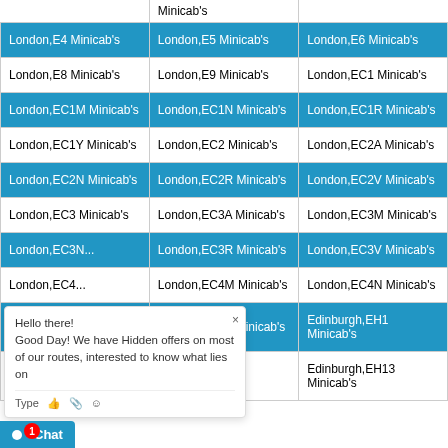|  | Minicab's |  |
| --- | --- | --- |
| London,E4 Minicab's | London,E5 Minicab's | London,E6 Minicab's |
| London,E8 Minicab's | London,E9 Minicab's | London,EC1 Minicab's |
| London,EC1M Minicab's | London,EC1N Minicab's | London,EC1R Minicab's |
| London,EC1Y Minicab's | London,EC2 Minicab's | London,EC2A Minicab's |
| London,EC2N Minicab's | London,EC2R Minicab's | London,EC2V Minicab's |
| London,EC3 Minicab's | London,EC3A Minicab's | London,EC3M Minicab's |
| London,EC3N... | London,EC3R Minicab's | London,EC3V Minicab's |
| London,EC4... | London,EC4M Minicab's | London,EC4N Minicab's |
| London,EC4... | London,EC4Y Minicab's | Edinburgh,EH1 Minicab's |
| Edinburgh,EH11 Minicab's | Edinburgh,EH12 Minicab's | Edinburgh,EH13 Minicab's |